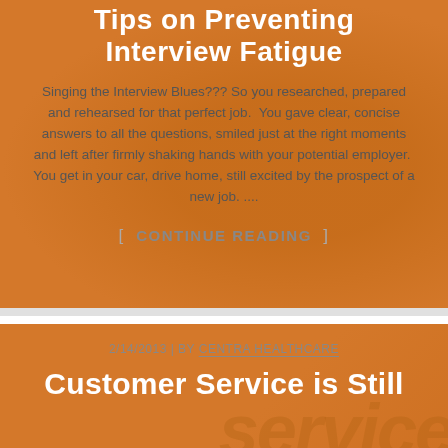Tips on Preventing Interview Fatigue
Singing the Interview Blues??? So you researched, prepared and rehearsed for that perfect job.  You gave clear, concise answers to all the questions, smiled just at the right moments and left after firmly shaking hands with your potential employer.  You get in your car, drive home, still excited by the prospect of a new job. ....
[ CONTINUE READING ]
2/14/2013 | BY CENTRA HEALTHCARE
Customer Service is Still